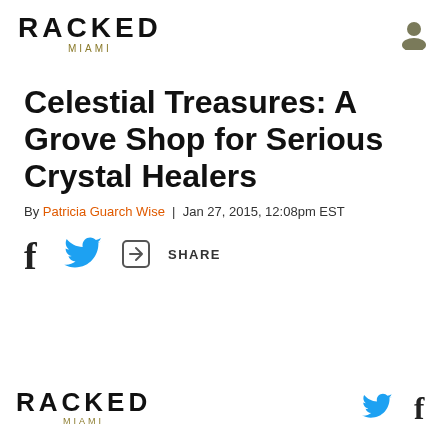RACKED MIAMI
Celestial Treasures: A Grove Shop for Serious Crystal Healers
By Patricia Guarch Wise | Jan 27, 2015, 12:08pm EST
[Figure (other): Social sharing icons: Facebook, Twitter, and Share button]
RACKED MIAMI